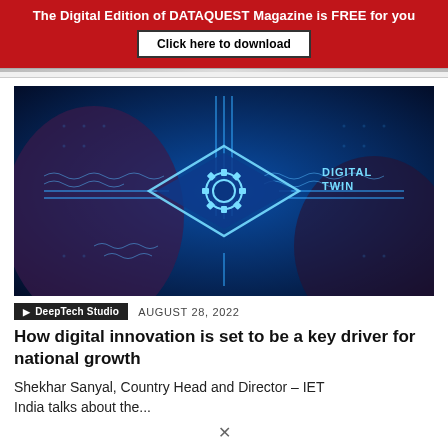The Digital Edition of DATAQUEST Magazine is FREE for you
Click here to download
[Figure (photo): Digital Twin concept image — a glowing blue circuit board with a gear icon in the center diamond shape and 'DIGITAL TWIN' text, with hands visible in the background on a dark blue background]
DeepTech Studio   AUGUST 28, 2022
How digital innovation is set to be a key driver for national growth
Shekhar Sanyal, Country Head and Director – IET India talks about the...